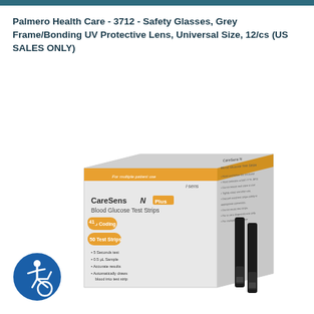Palmero Health Care - 3712 - Safety Glasses, Grey Frame/Bonding UV Protective Lens, Universal Size, 12/cs (US SALES ONLY)
[Figure (photo): Product photo of CareSens N Plus Blood Glucose Test Strips box (50 test strips, No Coding) with two black test strips shown beside it, displayed at an angle showing front and side of the box. Orange and grey box with i-sens branding.]
[Figure (illustration): Accessibility/wheelchair symbol icon in a blue circle — international symbol of access.]